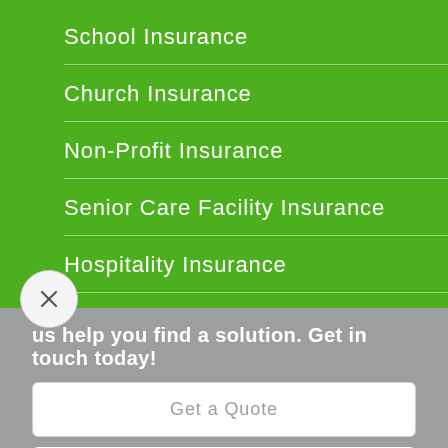School Insurance
Church Insurance
Non-Profit Insurance
Senior Care Facility Insurance
Hospitality Insurance
See All
us help you find a solution. Get in touch today!
Get a Quote
Contact Us